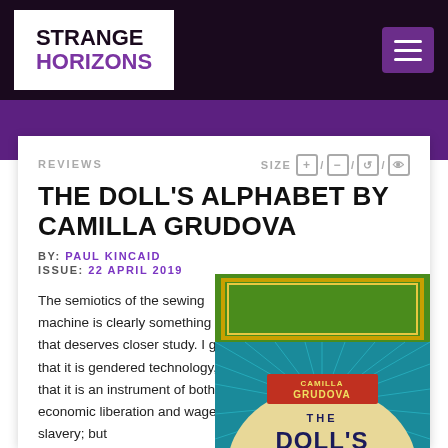STRANGE HORIZONS
REVIEWS
THE DOLL'S ALPHABET BY CAMILLA GRUDOVA
BY: PAUL KINCAID
ISSUE: 22 APRIL 2019
The semiotics of the sewing machine is clearly something that deserves closer study. I get that it is gendered technology, that it is an instrument of both economic liberation and wage slavery; but
[Figure (photo): Book cover of The Doll's Alphabet by Camilla Grudova, showing a colorful illustrated cover with green and teal elements and the author name]